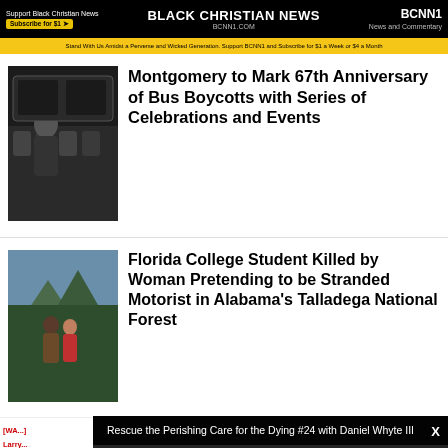BLACK CHRISTIAN NEWS
BCNN1.COM
Support Black Christian News | Subscribe for $1 | BCNN1 News and Commentary
Stand With Us Amidst a Perverse and Wicked Generation. Support BCNN1 and Subscribe for $1 a Week or $4 a Month
Montgomery to Mark 67th Anniversary of Bus Boycotts with Series of Celebrations and Events
[Figure (photo): Black and white photo of people on a bus, historical civil rights era image]
Florida College Student Killed by Woman Pretending to be Stranded Motorist in Alabama's Talladega National Forest
[Figure (photo): Photo of a couple standing outdoors in a mountainous/forested area]
[Figure (screenshot): Video player overlay showing Daniel Whyte III speaking, titled 'Rescue the Perishing Care for the Dying #24 with Daniel Whyte III']
Rescue the Perishing Care for the Dying #24 with Daniel Whyte III
WA... Larry... Larry... is Be... Hims... Goes... Pasto...